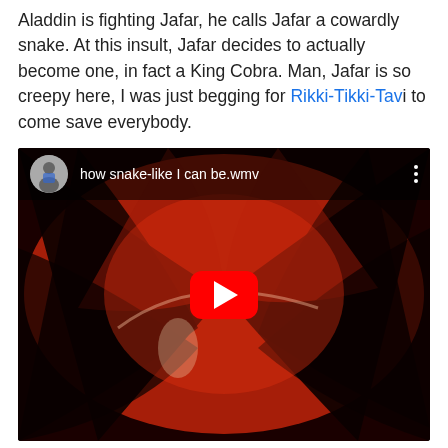Aladdin is fighting Jafar, he calls Jafar a cowardly snake. At this insult, Jafar decides to actually become one, in fact a King Cobra. Man, Jafar is so creepy here, I was just begging for Rikki-Tikki-Tavi to come save everybody.
[Figure (screenshot): YouTube video embed showing 'how snake-like I can be.wmv' with a thumbnail of a swirling red and black snake-like scene from Aladdin, with a red play button overlay and a circular avatar in the top left.]